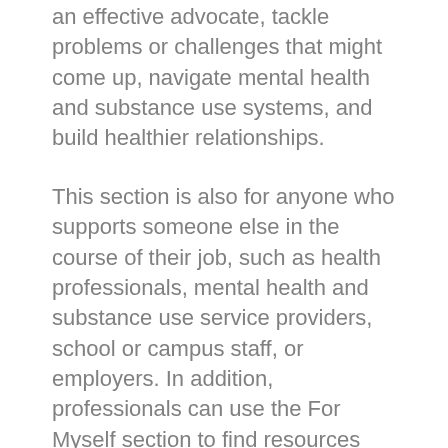an effective advocate, tackle problems or challenges that might come up, navigate mental health and substance use systems, and build healthier relationships.
This section is also for anyone who supports someone else in the course of their job, such as health professionals, mental health and substance use service providers, school or campus staff, or employers. In addition, professionals can use the For Myself section to find resources they'd like to provide for clients or patients.